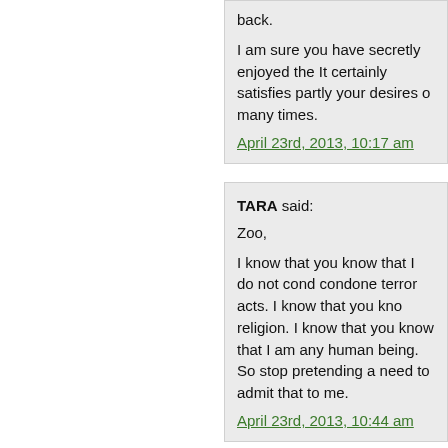back.

I am sure you have secretly enjoyed the It certainly satisfies partly your desires o many times.

April 23rd, 2013, 10:17 am
TARA said:

Zoo,

I know that you know that I do not condo condone terror acts. I know that you kno religion. I know that you know that I am any human being. So stop pretending a need to admit that to me.

April 23rd, 2013, 10:44 am
DOLLY BUSTER said:

Syrian Christians sided with the crimina

You reap what you sow, as the Bible sta

April 23rd, 2013, 10:58 am
ANN said:

MORE and MORE OVERTLY COLONIA